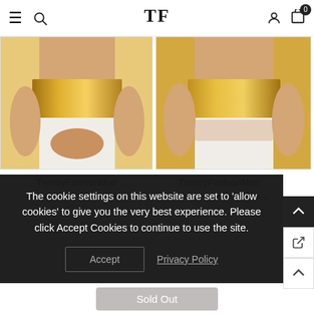TF (TrendyFashionMall logo) — hamburger, search, user, cart (0)
[Figure (photo): Left product image: woman wearing gold silk blouse/crop top with white garment, hands clasped at waist]
TrendyFashionMall Readymade Gold Silk...
[Figure (photo): Right product image: woman wearing gold silk blouse/crop top with white garment, arms crossed at waist]
TrendyFashionMall Readymade Gold Silk...
The cookie settings on this website are set to 'allow cookies' to give you the very best experience. Please Accept Cookies to continue to use the site.
Accept
Privacy Policy
Sold Out